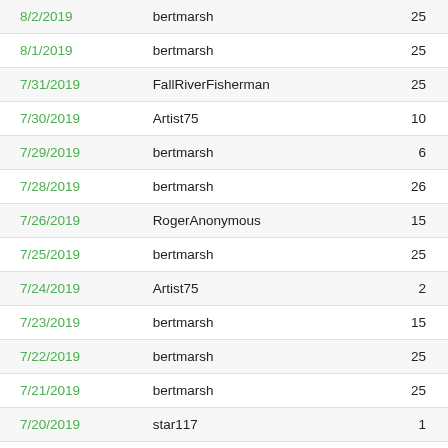| Date | User | Count |
| --- | --- | --- |
| 8/2/2019 | bertmarsh | 25 |
| 8/1/2019 | bertmarsh | 25 |
| 7/31/2019 | FallRiverFisherman | 25 |
| 7/30/2019 | Artist75 | 10 |
| 7/29/2019 | bertmarsh | 6 |
| 7/28/2019 | bertmarsh | 26 |
| 7/26/2019 | RogerAnonymous | 15 |
| 7/25/2019 | bertmarsh | 25 |
| 7/24/2019 | Artist75 | 2 |
| 7/23/2019 | bertmarsh | 15 |
| 7/22/2019 | bertmarsh | 25 |
| 7/21/2019 | bertmarsh | 25 |
| 7/20/2019 | star117 | 1 |